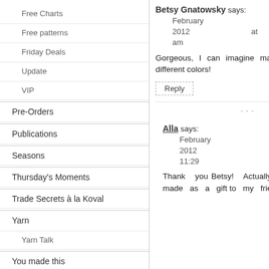Free Charts
Free patterns
Friday Deals
Update
VIP
Pre-Orders
Publications
Seasons
Thursday's Moments
Trade Secrets à la Koval
Yarn
Yarn Talk
You made this
Betsy Gnatowsky says: February 8, 2012 at 11:22 am
Gorgeous, I can imagine making it in lots of different colors!
Reply
...
Alla says: February 8, 2012 at 11:29 am
Thank you Betsy! Actually this scarf was made as a gift to my friend
Etsy(46) Pattern(16) Commercially(3) Review(3) Bl... Artfire(6) Ann... Attic(3) A la K... 2019(7) 2018... 2013(4) 2012... 2009(18) 20...
Lets Ge
[Figure (other): Social media icons: Facebook (blue), Twitter (blue), StumbleUpon (green), and another icon (grey)]